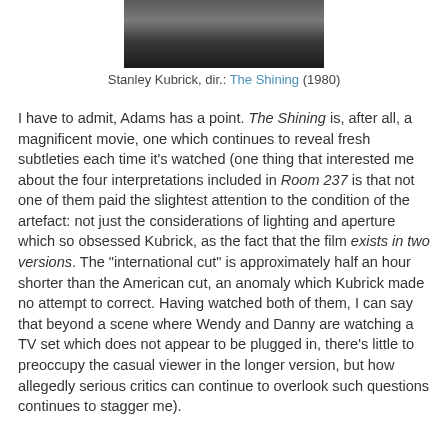[Figure (photo): Partial photo of Stanley Kubrick, cropped showing top portion of face]
Stanley Kubrick, dir.: The Shining (1980)
I have to admit, Adams has a point. The Shining is, after all, a magnificent movie, one which continues to reveal fresh subtleties each time it's watched (one thing that interested me about the four interpretations included in Room 237 is that not one of them paid the slightest attention to the condition of the artefact: not just the considerations of lighting and aperture which so obsessed Kubrick, as the fact that the film exists in two versions. The "international cut" is approximately half an hour shorter than the American cut, an anomaly which Kubrick made no attempt to correct. Having watched both of them, I can say that beyond a scene where Wendy and Danny are watching a TV set which does not appear to be plugged in, there's little to preoccupy the casual viewer in the longer version, but how allegedly serious critics can continue to overlook such questions continues to stagger me).